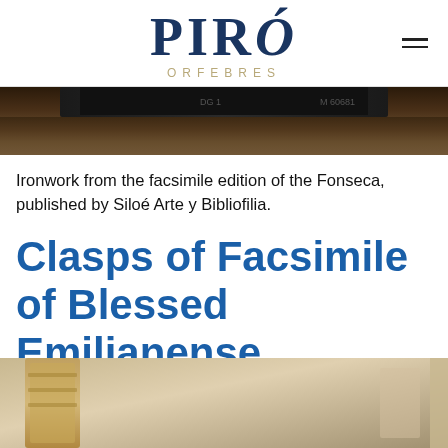PIRÓ ORFEBRES
[Figure (photo): Top portion of a book or object on a wooden surface, dark brown tones, partially cropped]
Ironwork from the facsimile edition of the Fonseca, published by Siloé Arte y Bibliofilia.
Clasps of Facsimile of Blessed Emilianense
[Figure (photo): Bottom portion of a photo showing golden/bronze colored clasps or metalwork, partially cropped at page bottom]